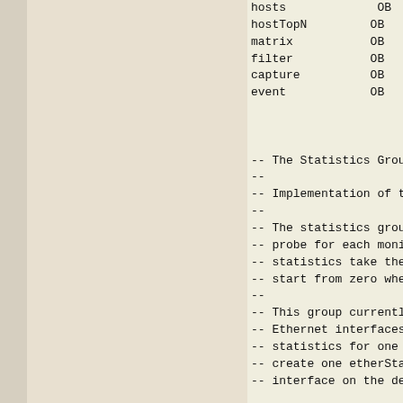hosts OB
hostTopN OB
matrix OB
filter OB
capture OB
event OB

-- The Statistics Group
--
-- Implementation of the
--
-- The statistics group
-- probe for each monito
-- statistics take the f
-- start from zero when
--
-- This group currently
-- Ethernet interfaces.
-- statistics for one Et
-- create one etherStats
-- interface on the devi

etherStatsTable OBJECT-T
    SYNTAX SEQUENCE OF E